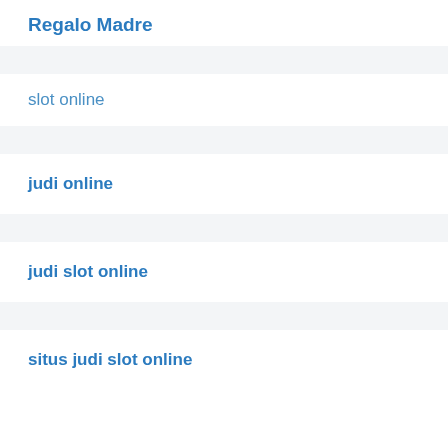Regalo Madre
slot online
judi online
judi slot online
situs judi slot online